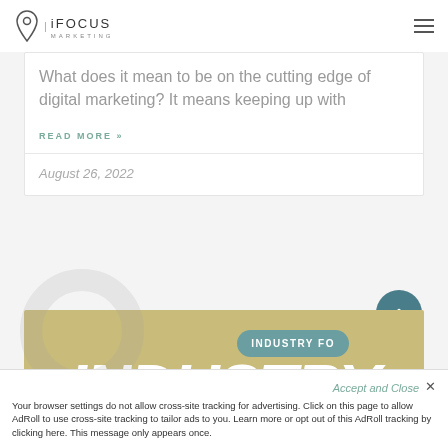iFOCUS MARKETING
What does it mean to be on the cutting edge of digital marketing? It means keeping up with
READ MORE »
August 26, 2022
[Figure (other): Industry section banner with large italic bold text 'INDUSTRY' and a teal pill badge reading 'INDUSTRY FO...' on a gold/khaki background]
Accept and Close ✕
Your browser settings do not allow cross-site tracking for advertising. Click on this page to allow AdRoll to use cross-site tracking to tailor ads to you. Learn more or opt out of this AdRoll tracking by clicking here. This message only appears once.